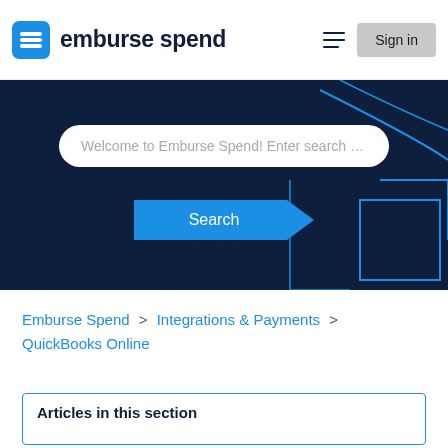[Figure (logo): Emburse Spend logo with blue square icon and dark navy wordmark]
[Figure (screenshot): Dark navy hero banner with search bar reading 'Welcome to Emburse Spend! Enter search key' and a blue Search button with geometric decorations]
Emburse Spend > Integrations & Payments > QuickBooks Online
Articles in this section